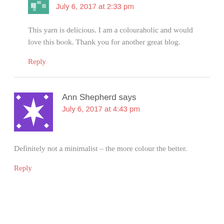July 6, 2017 at 2:33 pm
This yarn is delicious. I am a colouraholic and would love this book. Thank you for another great blog.
Reply
[Figure (illustration): Purple avatar icon with star/flower shape and diamond dots pattern]
Ann Shepherd says
July 6, 2017 at 4:43 pm
Definitely not a minimalist – the more colour the better.
Reply